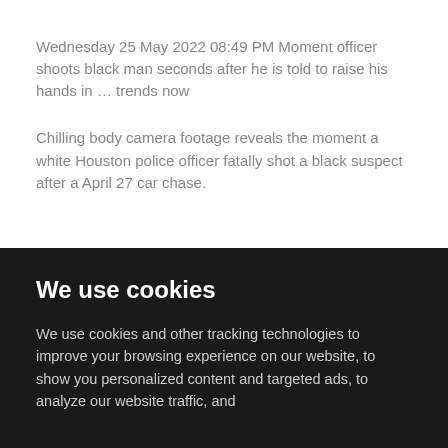Wednesday 25 May 2022 08:49 PM Moment officer shoots black man seconds after he is told to raise his hands in … trends now
Chilling body camera footage reveals the moment a white Houston police officer fatally shot a black suspect after a April 27 car chase.
We use cookies
We use cookies and other tracking technologies to improve your browsing experience on our website, to show you personalized content and targeted ads, to analyze our website traffic, and